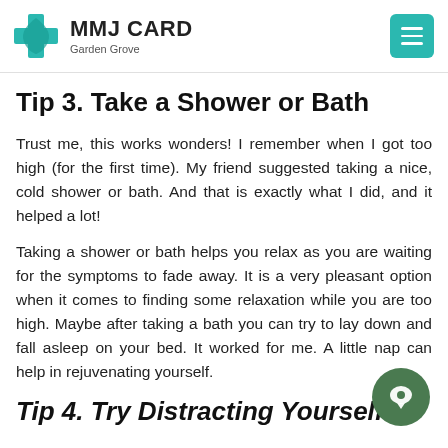MMJ CARD Garden Grove
Tip 3. Take a Shower or Bath
Trust me, this works wonders! I remember when I got too high (for the first time). My friend suggested taking a nice, cold shower or bath. And that is exactly what I did, and it helped a lot!
Taking a shower or bath helps you relax as you are waiting for the symptoms to fade away. It is a very pleasant option when it comes to finding some relaxation while you are too high. Maybe after taking a bath you can try to lay down and fall asleep on your bed. It worked for me. A little nap can help in rejuvenating yourself.
Tip 4. Try Distracting Yourself